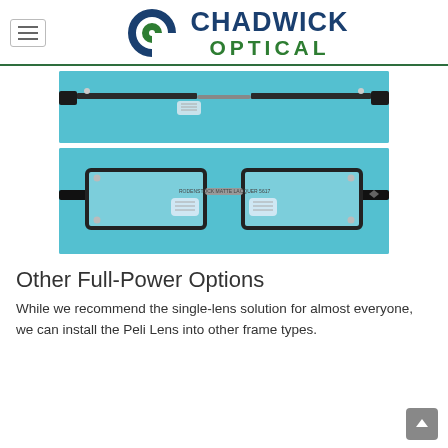[Figure (logo): Chadwick Optical logo with double-C eye icon in dark blue and green, with text CHADWICK in dark blue and OPTICAL in green]
[Figure (photo): Top portion of eyeglasses with metal frames on a cyan/teal background, showing nose pads and upper rim]
[Figure (photo): Full eyeglasses with metal frames on a cyan/teal background, showing nose pads, lenses, and temples]
Other Full-Power Options
While we recommend the single-lens solution for almost everyone, we can install the Peli Lens into other frame types.